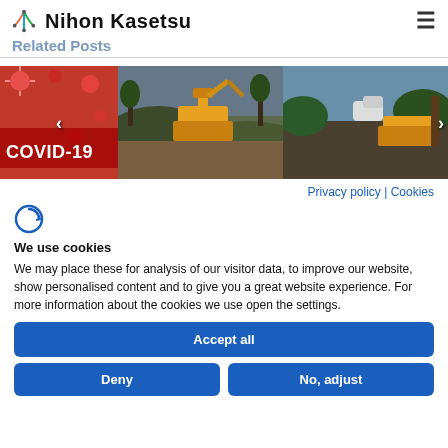Nihon Kasetsu
Related Posts
[Figure (photo): Carousel of three images: COVID-19 text with red virus particles, construction excavator in muddy terrain, and another construction/outdoor scene with yellow machinery.]
Privacy policy | Cookies
[Figure (logo): Cookiebot/cookie consent icon — circular arrow logo in blue]
We use cookies
We may place these for analysis of our visitor data, to improve our website, show personalised content and to give you a great website experience. For more information about the cookies we use open the settings.
Accept all
Deny
No, adjust